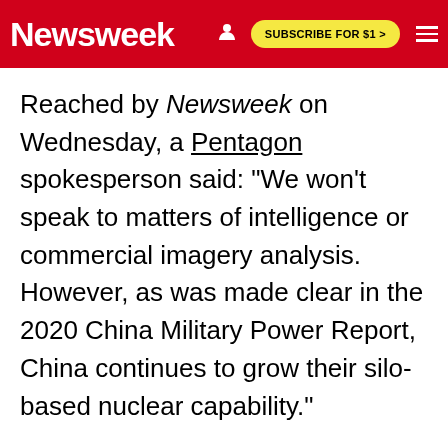Newsweek | SUBSCRIBE FOR $1 >
Reached by Newsweek on Wednesday, a Pentagon spokesperson said: "We won't speak to matters of intelligence or commercial imagery analysis. However, as was made clear in the 2020 China Military Power Report, China continues to grow their silo-based nuclear capability."